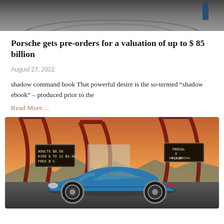[Figure (photo): Top cropped photo showing a dark grey/metallic surface with a blurred background and a small blue-clothed figure in the right corner.]
Porsche gets pre-orders for a valuation of up to $ 85 billion
August 27, 2022
shadow command book That powerful desire is the so-termed “shadow ebook” – produced prior to the
Read More…
[Figure (photo): A blue Porsche 911 sports car parked at what appears to be a drive-in movie theater at sunset, with large red arched structures and two ticket/marquee signs visible in the background.]